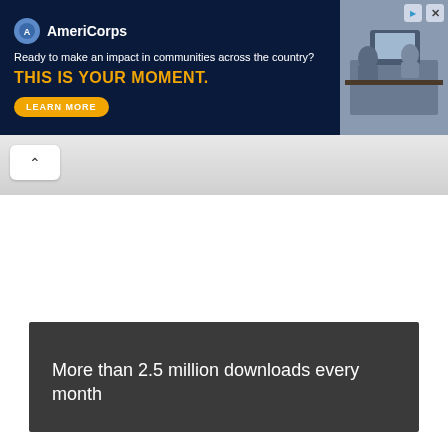[Figure (screenshot): AmeriCorps advertisement banner with dark blue background, logo, tagline 'Ready to make an impact in communities across the country?', bold orange headline 'THIS IS YOUR MOMENT.', a 'LEARN MORE' button, and a photo of people working at computers on the right.]
[Figure (screenshot): A collapse/minimize bar with a white upward-pointing chevron button on a gray gradient background.]
More than 2.5 million downloads every month